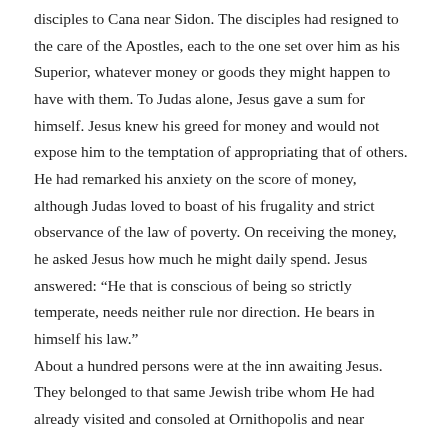disciples to Cana near Sidon. The disciples had resigned to the care of the Apostles, each to the one set over him as his Superior, whatever money or goods they might happen to have with them. To Judas alone, Jesus gave a sum for himself. Jesus knew his greed for money and would not expose him to the temptation of appropriating that of others. He had remarked his anxiety on the score of money, although Judas loved to boast of his frugality and strict observance of the law of poverty. On receiving the money, he asked Jesus how much he might daily spend. Jesus answered: “He that is conscious of being so strictly temperate, needs neither rule nor direction. He bears in himself his law.”
About a hundred persons were at the inn awaiting Jesus. They belonged to that same Jewish tribe whom He had already visited and consoled at Ornithopolis and near